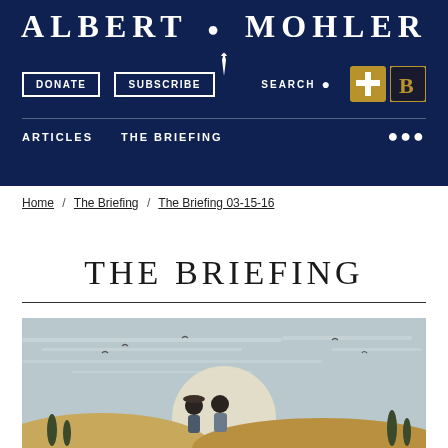ALBERT MOHLER
DONATE | SUBSCRIBE | SEARCH | ARTICLES | THE BRIEFING
Home / The Briefing / The Briefing 03-15-16
THE BRIEFING
[Figure (illustration): Stylized illustration of two figures (a man and a woman) viewed from behind, sitting or standing and looking out at a landscape with a large pale sun or moon on the horizon, birds in a muted blue-grey sky, and rolling hills with cypress-like trees in warm tones.]